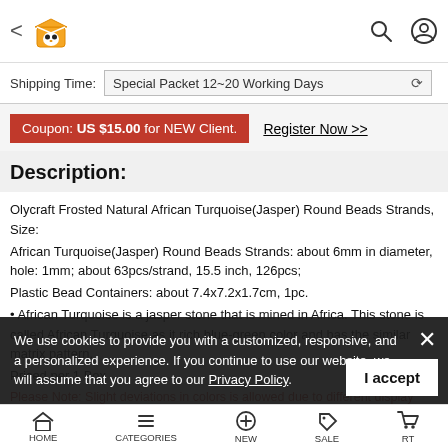< [logo] [search] [profile]
Shipping Time: Special Packet 12~20 Working Days
Coupon: US $15.00 for NEW Client.   Register Now >>
Description:
Olycraft Frosted Natural African Turquoise(Jasper) Round Beads Strands, Size:
African Turquoise(Jasper) Round Beads Strands: about 6mm in diameter, hole: 1mm; about 63pcs/strand, 15.5 inch, 126pcs;
Plastic Bead Containers: about 7.4x7.2x1.7cm, 1pc.
• African Turquoise is a jasper stone that is mined in Africa. This stone is called African Turquoise as it rich blue-green color and has the similar matrix pattern.
Priced per 1 Box
Please Note: Slight deviations in colors is allowed due to different display device.
We use cookies to provide you with a customized, responsive, and a personalized experience. If you continue to use our website, we will assume that you agree to our Privacy Policy.
HOME   CATEGORIES   NEW   SALE   CART